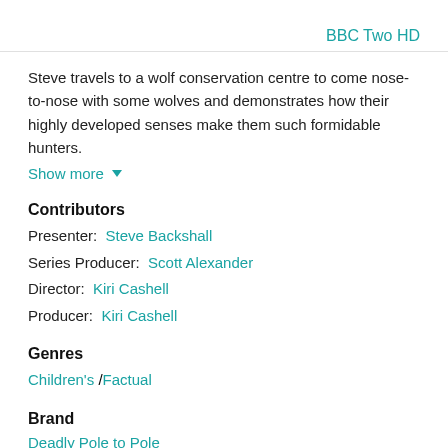BBC Two HD
Steve travels to a wolf conservation centre to come nose-to-nose with some wolves and demonstrates how their highly developed senses make them such formidable hunters.
Show more
Contributors
Presenter: Steve Backshall
Series Producer: Scott Alexander
Director: Kiri Cashell
Producer: Kiri Cashell
Genres
Children's / Factual
Brand
Deadly Pole to Pole